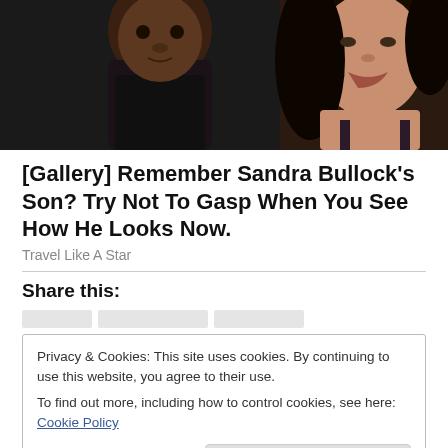[Figure (photo): Close-up photo of a young Black boy and a woman with long dark hair, both looking toward the camera.]
[Gallery] Remember Sandra Bullock's Son? Try Not To Gasp When You See How He Looks Now.
Travel Like A Star
Share this:
Privacy & Cookies: This site uses cookies. By continuing to use this website, you agree to their use.
To find out more, including how to control cookies, see here: Cookie Policy
Close and accept
Related